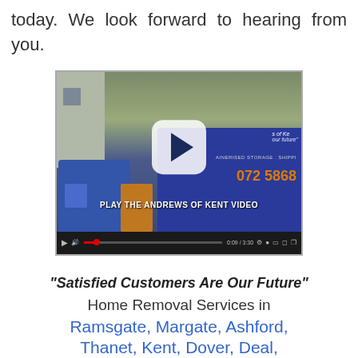today. We look forward to hearing from you.
[Figure (screenshot): Embedded video player showing a forklift and removal van with 'PLAY THE ANDREWS OF KENT VIDEO' text overlay and standard video controls at bottom. Duration shows 0:09 / 3:30.]
“Satisfied Customers Are Our Future”
Home Removal Services in
Ramsgate, Margate, Ashford,
Thanet, Kent, Dover, Deal,